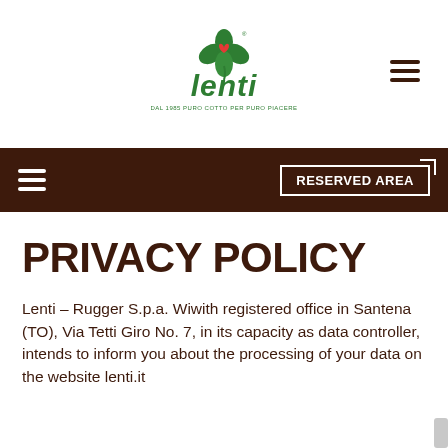[Figure (logo): Lenti brand logo — green four-leaf clover with red heart, green italic 'lenti' text, tagline 'DAL 1985 PURO COTTO PER PURO PIACERE']
RESERVED AREA
PRIVACY POLICY
Lenti – Rugger S.p.a. Wiwith registered office in Santena (TO), Via Tetti Giro No. 7, in its capacity as data controller, intends to inform you about the processing of your data on the website lenti.it